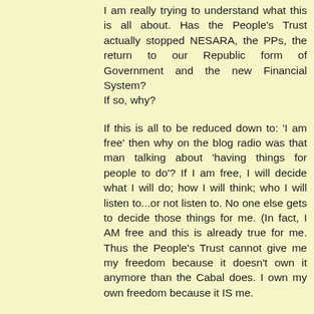I am really trying to understand what this is all about. Has the People's Trust actually stopped NESARA, the PPs, the return to our Republic form of Government and the new Financial System? If so, why?
If this is all to be reduced down to: 'I am free' then why on the blog radio was that man talking about 'having things for people to do'? If I am free, I will decide what I will do; how I will think; who I will listen to...or not listen to. No one else gets to decide those things for me. (In fact, I AM free and this is already true for me. Thus the People's Trust cannot give me my freedom because it doesn't own it anymore than the Cabal does. I own my own freedom because it IS me.
If I let someone else (the People's Trust?) tell me what to do, then I have engaged in re-implementing the very essence of the misery under which we now labor, have I not? What am I missing here?